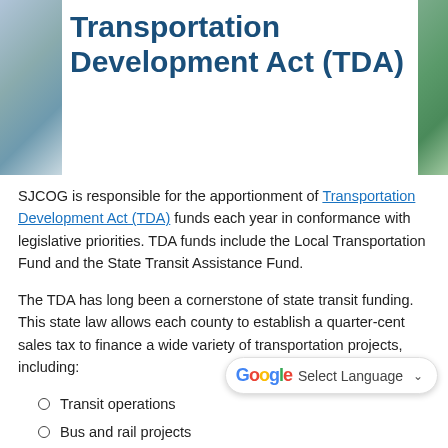[Figure (photo): Cropped photo on left side showing road/transportation scene]
[Figure (photo): Cropped photo on right side showing greenery/nature scene]
Transportation Development Act (TDA)
SJCOG is responsible for the apportionment of Transportation Development Act (TDA) funds each year in conformance with legislative priorities. TDA funds include the Local Transportation Fund and the State Transit Assistance Fund.
The TDA has long been a cornerstone of state transit funding. This state law allows each county to establish a quarter-cent sales tax to finance a wide variety of transportation projects, including:
Transit operations
Bus and rail projects
Special transit services for di[sabled persons]
Pedestrian and bicycle facilities